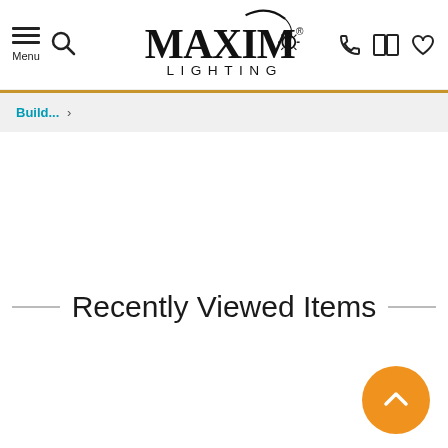Menu | Search | MAXIM LIGHTING | Phone | Catalog | Wishlist
Build... ›
Recently Viewed Items
[Figure (other): Orange circular back-to-top button with upward chevron arrow]